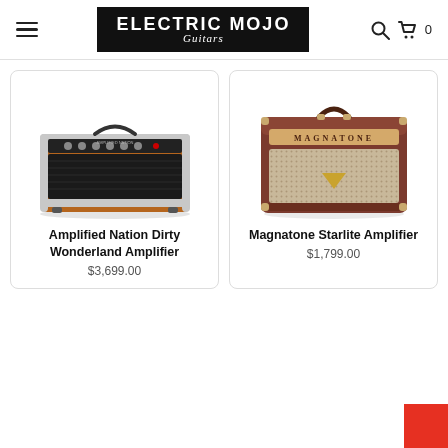Electric Mojo Guitars
[Figure (photo): Amplified Nation Dirty Wonderland Amplifier - orange/brown combo guitar amplifier]
Amplified Nation Dirty Wonderland Amplifier
$3,699.00
[Figure (photo): Magnatone Starlite Amplifier - brown combo guitar amplifier with wicker grille]
Magnatone Starlite Amplifier
$1,799.00